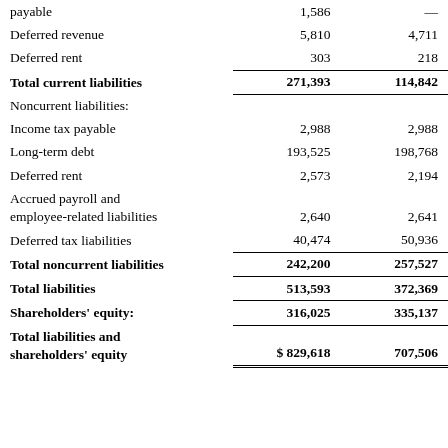|  | Col1 | Col2 |
| --- | --- | --- |
| payable | 1,586 | — |
| Deferred revenue | 5,810 | 4,711 |
| Deferred rent | 303 | 218 |
| Total current liabilities | 271,393 | 114,842 |
| Noncurrent liabilities: |  |  |
| Income tax payable | 2,988 | 2,988 |
| Long-term debt | 193,525 | 198,768 |
| Deferred rent | 2,573 | 2,194 |
| Accrued payroll and employee-related liabilities | 2,640 | 2,641 |
| Deferred tax liabilities | 40,474 | 50,936 |
| Total noncurrent liabilities | 242,200 | 257,527 |
| Total liabilities | 513,593 | 372,369 |
| Shareholders' equity: | 316,025 | 335,137 |
| Total liabilities and shareholders' equity | $ 829,618 | 707,506 |